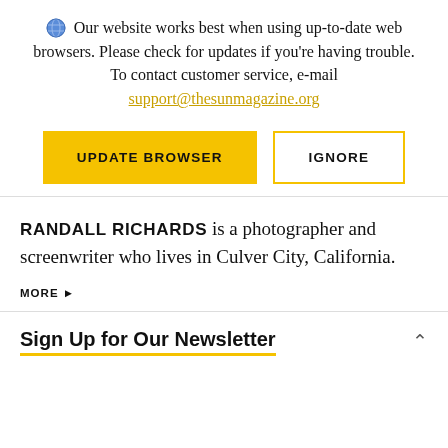Our website works best when using up-to-date web browsers. Please check for updates if you're having trouble. To contact customer service, e-mail support@thesunmagazine.org
[Figure (other): Two buttons: UPDATE BROWSER (yellow filled) and IGNORE (yellow outlined)]
RANDALL RICHARDS is a photographer and screenwriter who lives in Culver City, California.
MORE ▶
Sign Up for Our Newsletter